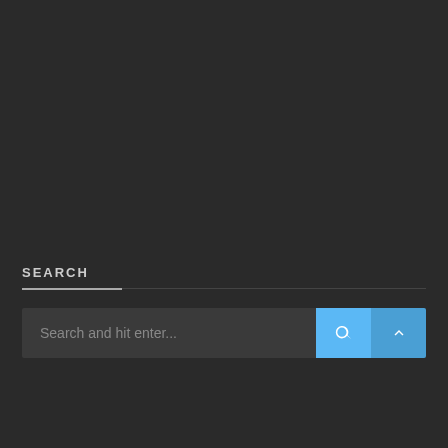SEARCH
[Figure (screenshot): Search bar UI component with dark background. Contains a text input field with placeholder 'Search and hit enter...', a blue search button with magnifying glass icon, and a blue chevron-up button.]